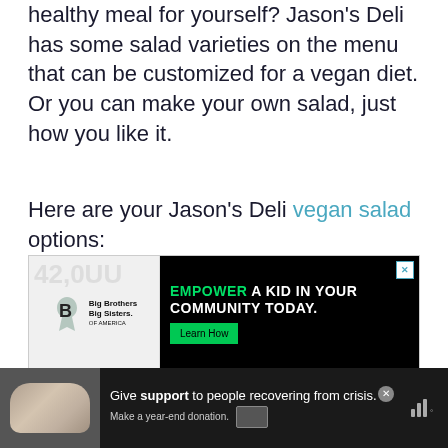healthy meal for yourself? Jason's Deli has some salad varieties on the menu that can be customized for a vegan diet. Or you can make your own salad, just how you like it.
Here are your Jason's Deli vegan salad options:
[Figure (screenshot): Advertisement banner: Big Brothers Big Sisters logo on the left with background image, and on the right a black background with green text 'EMPOWER A KID IN YOUR COMMUNITY TODAY.' and a green 'Learn How' button, with a close X button.]
[Figure (screenshot): Bottom advertisement bar on dark background: hands clasped photo on left, text 'Give support to people recovering from crisis. Make a year-end donation.' with a card icon, close button, and sound/wave icon on right.]